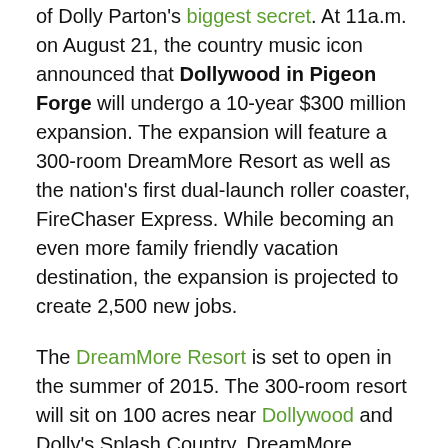of Dolly Parton's biggest secret. At 11a.m. on August 21, the country music icon announced that Dollywood in Pigeon Forge will undergo a 10-year $300 million expansion. The expansion will feature a 300-room DreamMore Resort as well as the nation's first dual-launch roller coaster, FireChaser Express. While becoming an even more family friendly vacation destination, the expansion is projected to create 2,500 new jobs.
The DreamMore Resort is set to open in the summer of 2015. The 300-room resort will sit on 100 acres near Dollywood and Dolly's Splash Country. DreamMore Resort will feature a wide variety of accommodations to meet the needs of every family. For guests planning a vacation to the Smoky Mountains, the resort will include an indoor and outdoor pool, a spa, meeting areas and a